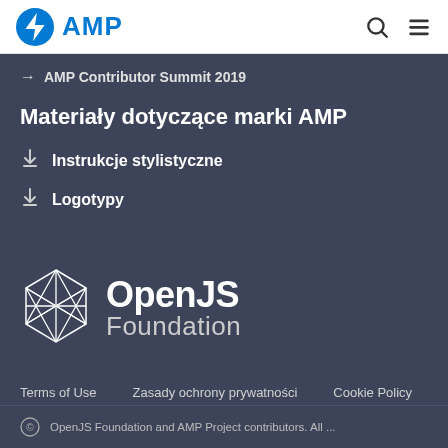AMP
→ AMP Contributor Summit 2019
Materiały dotyczące marki AMP
↓ Instrukcje stylistyczne
↓ Logotypy
[Figure (logo): OpenJS Foundation logo — geometric diamond/sphere wireframe icon alongside 'OpenJS Foundation' text in white]
Terms of Use   Zasady ochrony prywatności   Cookie Policy
© OpenJS Foundation and AMP Project contributors. All...